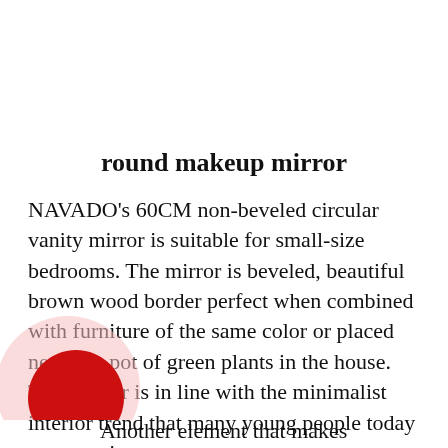round makeup mirror
NAVADO's 60CM non-beveled circular vanity mirror is suitable for small-size bedrooms. The mirror is beveled, beautiful brown wood border perfect when combined with furniture of the same color or placed next to a pot of green plants in the house. This mirror is in line with the minimalist interior trend that many young people today are pursuing.
[Figure (illustration): A circular icon with a light pink/red outer ring and a solid red circle in the center, resembling a recording or target symbol, partially clipped at the bottom-left corner of the page.]
Another element that makes